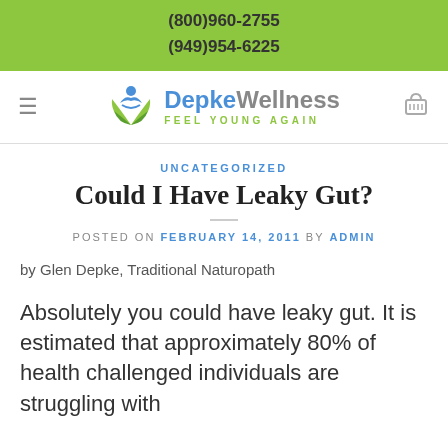(800)960-2755
(949)954-6225
[Figure (logo): Depke Wellness logo with blue figure and green leaves, tagline FEEL YOUNG AGAIN]
UNCATEGORIZED
Could I Have Leaky Gut?
POSTED ON FEBRUARY 14, 2011 BY ADMIN
by Glen Depke, Traditional Naturopath
Absolutely you could have leaky gut. It is estimated that approximately 80% of health challenged individuals are struggling with